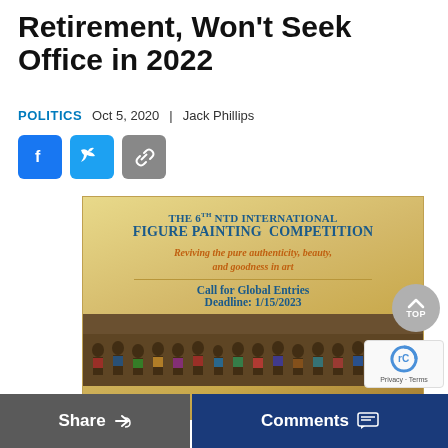Retirement, Won't Seek Office in 2022
POLITICS   Oct 5, 2020  |  Jack Phillips
[Figure (illustration): Social share buttons: Facebook (blue), Twitter (light blue), Link/Copy (gray)]
[Figure (photo): Advertisement for The 6th NTD International Figure Painting Competition. Text: Reviving the pure authenticity, beauty, and goodness in art. Call for Global Entries Deadline: 1/15/2023. Group photo of participants at bottom.]
Share   Comments